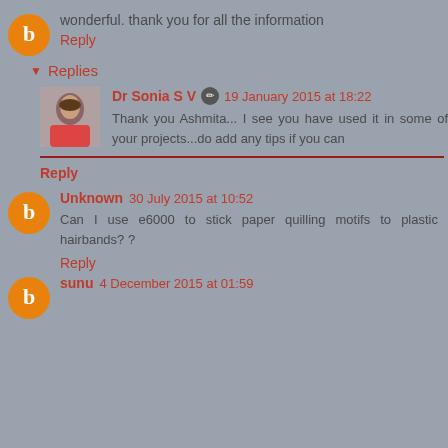wonderful. thank you for all the information
Reply
Replies
Dr Sonia S V 19 January 2015 at 18:22
Thank you Ashmita... I see you have used it in some of your projects...do add any tips if you can
Reply
Unknown 30 July 2015 at 10:52
Can I use e6000 to stick paper quilling motifs to plastic hairbands? ?
Reply
sunu 4 December 2015 at 01:59